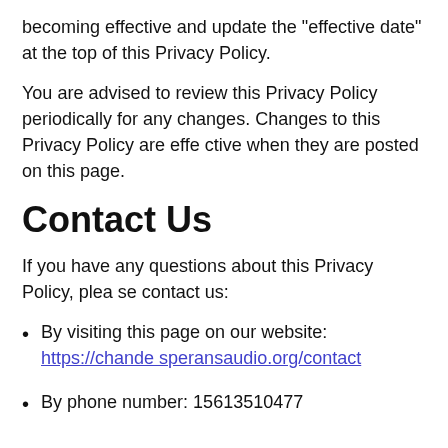becoming effective and update the "effective date" at the top of this Privacy Policy.
You are advised to review this Privacy Policy periodically for any changes. Changes to this Privacy Policy are effective when they are posted on this page.
Contact Us
If you have any questions about this Privacy Policy, please contact us:
By visiting this page on our website: https://chandesperansaudio.org/contact
By phone number: 15613510477